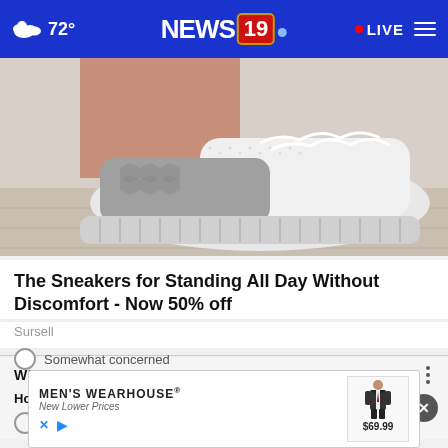72° NEWS 19 · LIVE
[Figure (photo): Close-up photo of a white and gray knit sneaker being worn, shown from the side on a light wooden floor background.]
The Sneakers for Standing All Day Without Discomfort - Now 50% off
Sursell
WHAT DO YOU THINK?
How concerned are you, if at all, about current drought conditions in Europe?
W...
Somewhat concerned
[Figure (screenshot): MEN'S WEARHOUSE advertisement banner showing a man in a dark suit, price $69.99, with 'New Lower Prices' tagline and social media icons.]